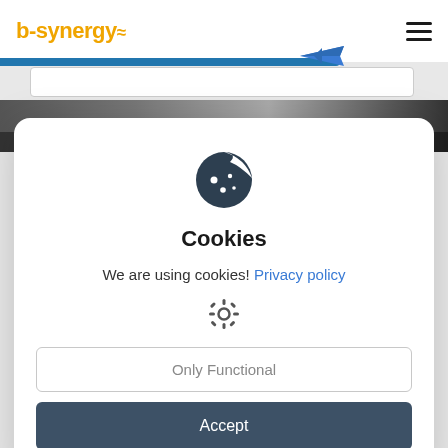b-synergy
[Figure (screenshot): Cookie consent dialog on b-synergy website. Shows a cookie icon, title 'Cookies', text 'We are using cookies! Privacy policy', a gear icon, an 'Only Functional' button, and an 'Accept' button.]
Cookies
We are using cookies! Privacy policy
Only Functional
Accept